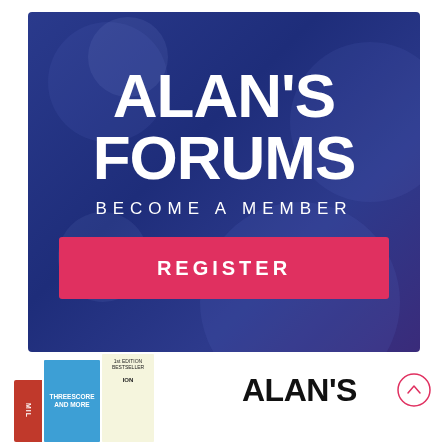[Figure (infographic): Alan's Forums promotional banner with dark blue/purple gradient background, large white bold text 'ALAN'S FORUMS', subtitle 'BECOME A MEMBER', and a pink/red register button labeled 'REGISTER']
[Figure (illustration): Stack of books at bottom left including spines with text 'MIL', 'THREESCORE AND MORE', and 'EDITION BESTSELLER ION']
ALAN'S